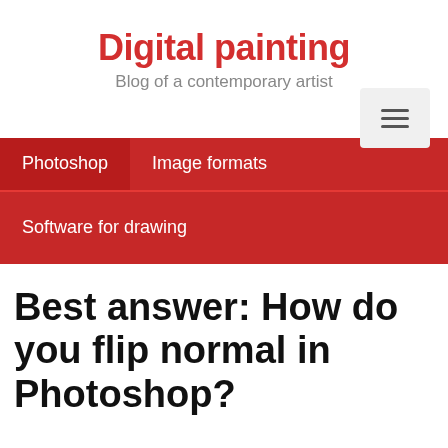Digital painting
Blog of a contemporary artist
Photoshop   Image formats
Software for drawing
Best answer: How do you flip normal in Photoshop?